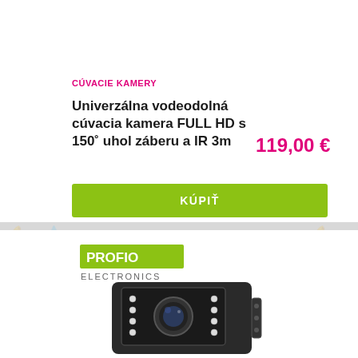CÚVACIE KAMERY
Univerzálna vodeodolná cúvacia kamera FULL HD s 150° uhol záberu a IR 3m
119,00 €
KÚPIŤ
[Figure (logo): PROFIO ELECTRONICS logo — green rectangle with white text PROFIO and grey text ELECTRONICS below]
[Figure (photo): Dark grey/black rectangular backup camera with visible lens in center and LED lights around it, PROFIO ELECTRONICS branding]